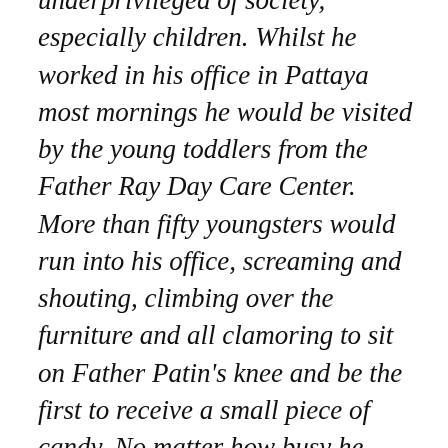underprivileged of society, especially children. Whilst he worked in his office in Pattaya most mornings he would be visited by the young toddlers from the Father Ray Day Care Center. More than fifty youngsters would run into his office, screaming and shouting, climbing over the furniture and all clamoring to sit on Father Patin's knee and be the first to receive a small piece of candy. No matter how busy he was, or how important a meeting was, when he heard the youngsters arrive he would stop working to welcome his children." Source